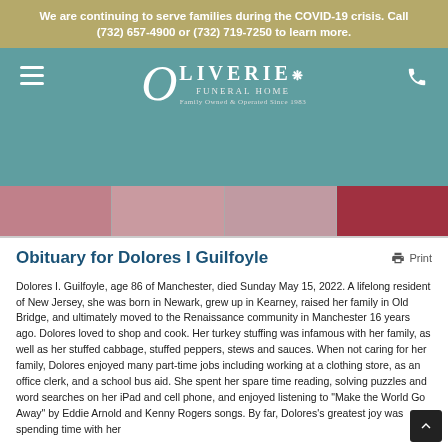We are continuing to serve families during the COVID-19 crisis. Call (732) 657-4900 or (732) 719-7250 to learn more.
[Figure (logo): Oliverie Funeral Home logo with decorative letter O and tagline 'Family Owned & Operated Since 1983']
Obituary for Dolores I Guilfoyle
Dolores I. Guilfoyle, age 86 of Manchester, died Sunday May 15, 2022. A lifelong resident of New Jersey, she was born in Newark, grew up in Kearney, raised her family in Old Bridge, and ultimately moved to the Renaissance community in Manchester 16 years ago. Dolores loved to shop and cook. Her turkey stuffing was infamous with her family, as well as her stuffed cabbage, stuffed peppers, stews and sauces. When not caring for her family, Dolores enjoyed many part-time jobs including working at a clothing store, as an office clerk, and a school bus aid. She spent her spare time reading, solving puzzles and word searches on her iPad and cell phone, and enjoyed listening to "Make the World Go Away" by Eddie Arnold and Kenny Rogers songs. By far, Dolores's greatest joy was spending time with her